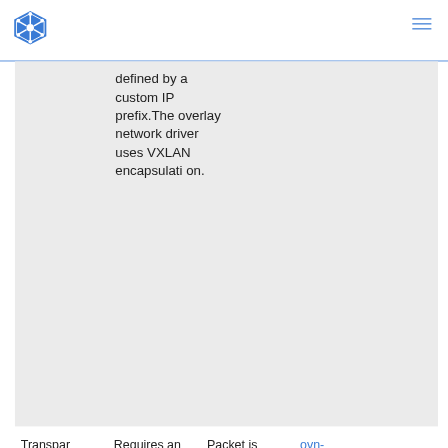defined by a custom IP prefix.The overlay network driver uses VXLAN encapsulation.
Transpar
Requires an
Packet is
ovn-